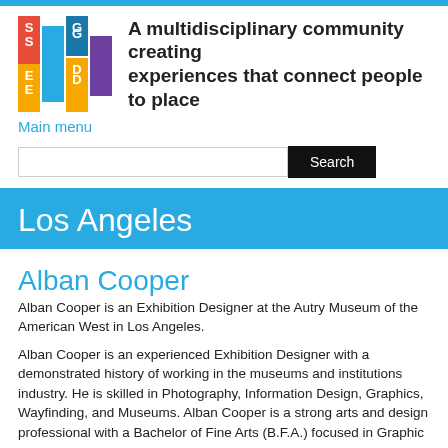A multidisciplinary community creating experiences that connect people to place
Main menu
Los Angeles
Alban Cooper
Alban Cooper is an Exhibition Designer at the Autry Museum of the American West in Los Angeles.
Alban Cooper is an experienced Exhibition Designer with a demonstrated history of working in the museums and institutions industry. He is skilled in Photography, Information Design, Graphics, Wayfinding, and Museums. Alban Cooper is a strong arts and design professional with a Bachelor of Fine Arts (B.F.A.) focused in Graphic Design from University of Hawaii at Manoa.